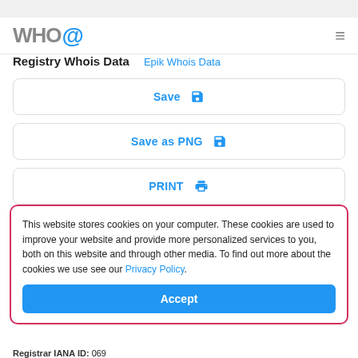WHO@ ≡
Registry Whois Data   Epik Whois Data
Save
Save as PNG
PRINT
This website stores cookies on your computer. These cookies are used to improve your website and provide more personalized services to you, both on this website and through other media. To find out more about the cookies we use see our Privacy Policy.
Accept
Registrar IANA ID: 069